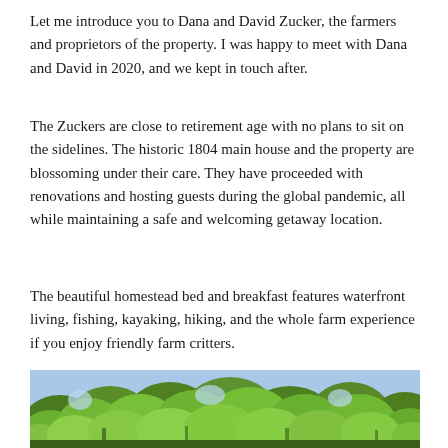Let me introduce you to Dana and David Zucker, the farmers and proprietors of the property. I was happy to meet with Dana and David in 2020, and we kept in touch after.
The Zuckers are close to retirement age with no plans to sit on the sidelines. The historic 1804 main house and the property are blossoming under their care. They have proceeded with renovations and hosting guests during the global pandemic, all while maintaining a safe and welcoming getaway location.
The beautiful homestead bed and breakfast features waterfront living, fishing, kayaking, hiking, and the whole farm experience if you enjoy friendly farm critters.
[Figure (photo): Outdoor photo showing a dense canopy of bright green trees with some sky visible, appearing to be taken in late spring or summer.]